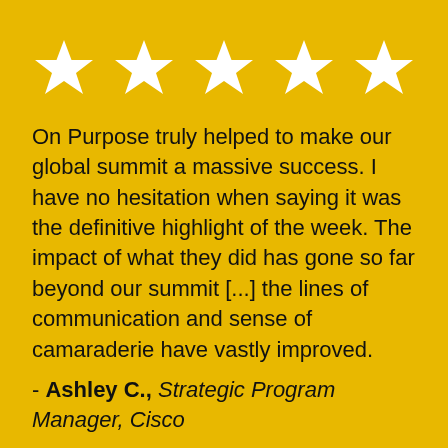[Figure (other): Five white stars in a row on a golden yellow background representing a 5-star rating]
On Purpose truly helped to make our global summit a massive success. I have no hesitation when saying it was the definitive highlight of the week. The impact of what they did has gone so far beyond our summit [...] the lines of communication and sense of camaraderie have vastly improved.
- Ashley C., Strategic Program Manager, Cisco